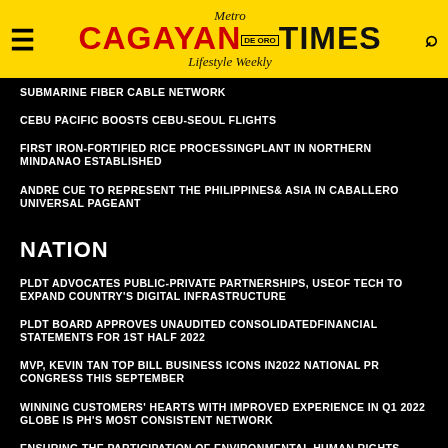Metro Cagayan Times de Oro Lifestyle Weekly
SUBMARINE FIBER CABLE NETWORK
CEBU PACIFIC BOOSTS CEBU-SEOUL FLIGHTS
FIRST IRON-FORTIFIED RICE PROCESSINGPLANT IN NORTHERN MINDANAO ESTABLISHED
ANDRE CUE TO REPRESENT THE PHILIPPINES& ASIA IN CABALLERO UNIVERSAL PAGEANT
NATION
PLDT ADVOCATES PUBLIC-PRIVATE PARTNERSHIPS, USEOF TECH TO EXPAND COUNTRY'S DIGITAL INFRASTRUCTURE
PLDT BOARD APPROVES UNAUDITED CONSOLIDATEDFINANCIAL STATEMENTS FOR 1ST HALF 2022
MVP, KEVIN TAN TOP BILL BUSINESS ICONS IN2022 NATIONAL PR CONGRESS THIS SEPTEMBER
WINNING CUSTOMERS' HEARTS WITH IMPROVED EXPERIENCE IN Q1 2022 GLOBE IS PH'S MOST CONSISTENT NETWORK
ENSURING THE PARTICIPATION OF ENVIRONMENTAL HUMAN RIGHTS